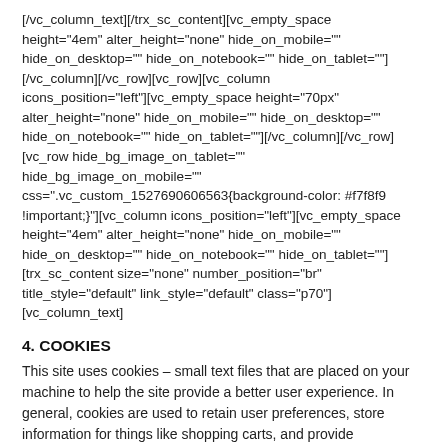[/vc_column_text][/trx_sc_content][vc_empty_space height="4em" alter_height="none" hide_on_mobile="" hide_on_desktop="" hide_on_notebook="" hide_on_tablet=""][/vc_column][/vc_row][vc_row][vc_column icons_position="left"][vc_empty_space height="70px" alter_height="none" hide_on_mobile="" hide_on_desktop="" hide_on_notebook="" hide_on_tablet=""][/vc_column][/vc_row][vc_row hide_bg_image_on_tablet="" hide_bg_image_on_mobile="" css=".vc_custom_1527690606563{background-color: #f7f8f9 !important;}"][vc_column icons_position="left"][vc_empty_space height="4em" alter_height="none" hide_on_mobile="" hide_on_desktop="" hide_on_notebook="" hide_on_tablet=""][trx_sc_content size="none" number_position="br" title_style="default" link_style="default" class="p70"][vc_column_text]
4. COOKIES
This site uses cookies – small text files that are placed on your machine to help the site provide a better user experience. In general, cookies are used to retain user preferences, store information for things like shopping carts, and provide